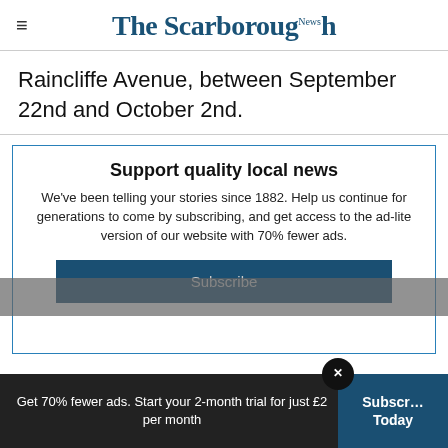The Scarborough News
Raincliffe Avenue, between September 22nd and October 2nd.
Support quality local news
We've been telling your stories since 1882. Help us continue for generations to come by subscribing, and get access to the ad-lite version of our website with 70% fewer ads.
Subscribe
Get 70% fewer ads. Start your 2-month trial for just £2 per month  Subscribe Today